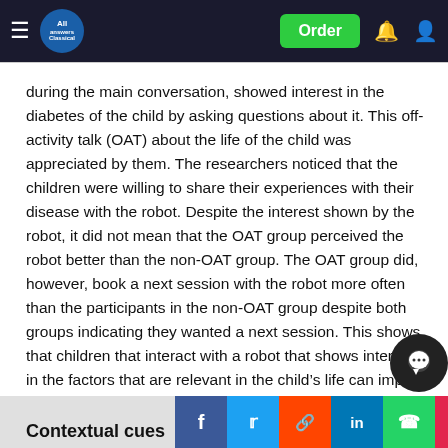All Answers | Order
during the main conversation, showed interest in the diabetes of the child by asking questions about it. This off-activity talk (OAT) about the life of the child was appreciated by them. The researchers noticed that the children were willing to share their experiences with their disease with the robot. Despite the interest shown by the robot, it did not mean that the OAT group perceived the robot better than the non-OAT group. The OAT group did, however, book a next session with the robot more often than the participants in the non-OAT group despite both groups indicating they wanted a next session. This shows that children that interact with a robot that shows interest in the factors that are relevant in the child's life can imp... the engagement that the child feels toward the robot a... therefore th...
Contextual cues